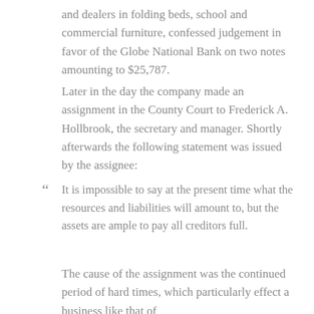and dealers in folding beds, school and commercial furniture, confessed judgement in favor of the Globe National Bank on two notes amounting to $25,787.
Later in the day the company made an assignment in the County Court to Frederick A. Hollbrook, the secretary and manager. Shortly afterwards the following statement was issued by the assignee:
“ It is impossible to say at the present time what the resources and liabilities will amount to, but the assets are ample to pay all creditors full.
The cause of the assignment was the continued period of hard times, which particularly effect a business like that of